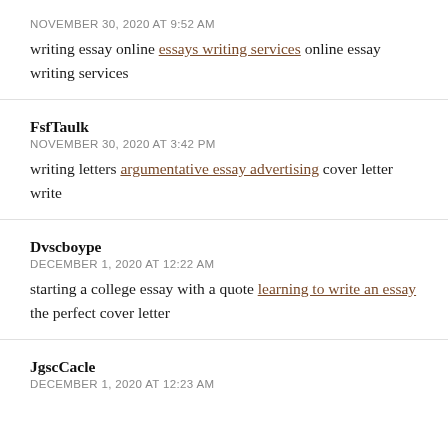NOVEMBER 30, 2020 AT 9:52 AM
writing essay online essays writing services online essay writing services
FsfTaulk
NOVEMBER 30, 2020 AT 3:42 PM
writing letters argumentative essay advertising cover letter write
Dvscboype
DECEMBER 1, 2020 AT 12:22 AM
starting a college essay with a quote learning to write an essay the perfect cover letter
JgscCacle
DECEMBER 1, 2020 AT 12:23 AM